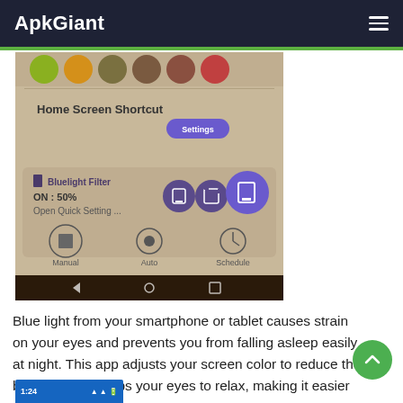ApkGiant
[Figure (screenshot): Android app screenshot showing Bluelight Filter app UI with Home Screen Shortcut section, settings button, filter controls showing ON: 50%, Open Quick Setting text, Manual/Auto/Schedule buttons, and Android navigation bar]
Blue light from your smartphone or tablet causes strain on your eyes and prevents you from falling asleep easily at night. This app adjusts your screen color to reduce the blue light and helps your eyes to relax, making it easier for you to fall as
[Figure (screenshot): Partial Android status bar showing time 1:24 and signal/battery icons]